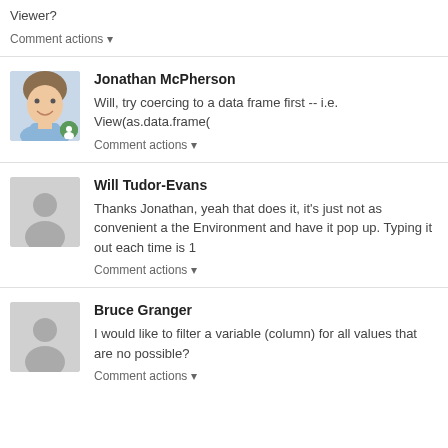Viewer?
Comment actions ▾
Jonathan McPherson
Will, try coercing to a data frame first -- i.e. View(as.data.frame(
Comment actions ▾
Will Tudor-Evans
Thanks Jonathan, yeah that does it, it's just not as convenient a the Environment and have it pop up. Typing it out each time is 1
Comment actions ▾
Bruce Granger
I would like to filter a variable (column) for all values that are no possible?
Comment actions ▾